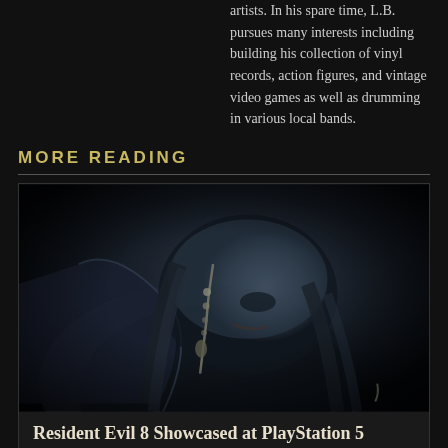artists. In his spare time, L.B. pursues many interests including building his collection of vinyl records, action figures, and vintage video games as well as drumming in various local bands.
MORE READING
[Figure (photo): Dark blue-tinted image of a menacing hooded figure with long dark hair, wearing a leather jacket with a chain, grinning menacingly — promotional image for Resident Evil 8]
Resident Evil 8 Showcased at PlayStation 5 Reveal Event